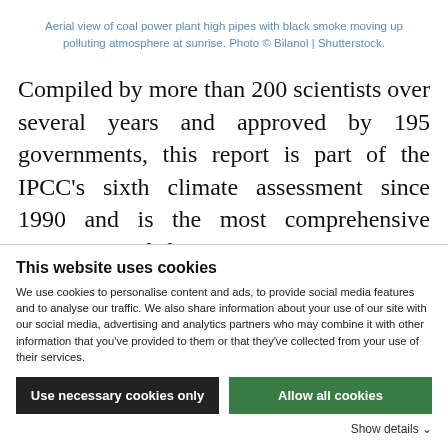Aerial view of coal power plant high pipes with black smoke moving up polluting atmosphere at sunrise. Photo © Bilanol | Shutterstock.
Compiled by more than 200 scientists over several years and approved by 195 governments, this report is part of the IPCC's sixth climate assessment since 1990 and is the most comprehensive assessment of climate
This website uses cookies
We use cookies to personalise content and ads, to provide social media features and to analyse our traffic. We also share information about your use of our site with our social media, advertising and analytics partners who may combine it with other information that you've provided to them or that they've collected from your use of their services.
Use necessary cookies only
Allow all cookies
Show details